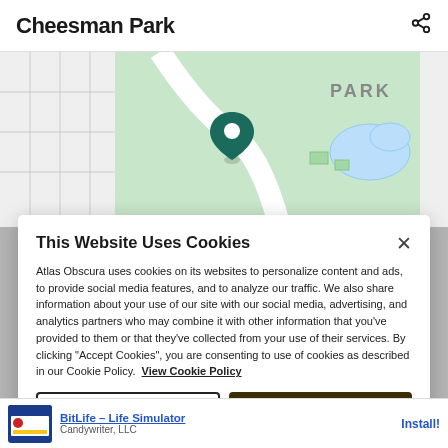Cheesman Park
[Figure (map): Google Maps view of Cheesman Park area with green park area, location pin marker, and street grid visible]
This Website Uses Cookies
Atlas Obscura uses cookies on its websites to personalize content and ads, to provide social media features, and to analyze our traffic. We also share information about your use of our site with our social media, advertising, and analytics partners who may combine it with other information that you've provided to them or that they've collected from your use of their services. By clicking "Accept Cookies", you are consenting to use of cookies as described in our Cookie Policy. View Cookie Policy
Manage Preferences
Allow Cookies
[Figure (screenshot): Advertisement banner for BitLife - Life Simulator by Candywriter, LLC with Install button]